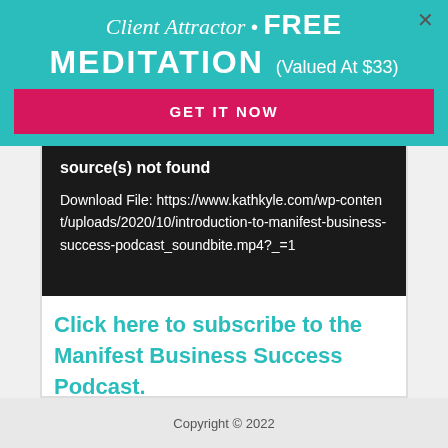Client Attractor • FREE MEDITATION (Valued At $33) GET IT NOW
source(s) not found
Download File: https://www.kathkyle.com/wp-content/uploads/2020/10/introduction-to-manifest-business-success-podcast_soundbite.mp4?_=1
Click here to subscribe to the Manifest Business Success Podcast.
Copyright © 2022